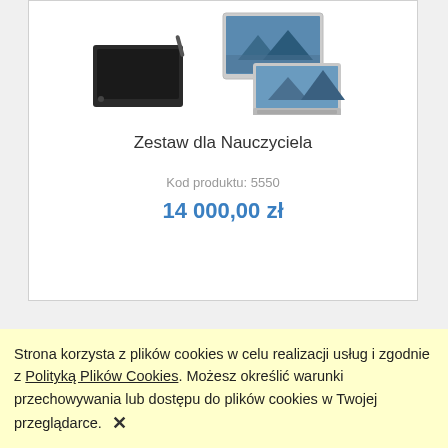[Figure (photo): Product photo showing a drawing tablet, dual monitor setup, and laptop computer for the teacher bundle.]
Zestaw dla Nauczyciela
Kod produktu: 5550
14 000,00 zł
Strona korzysta z plików cookies w celu realizacji usług i zgodnie z Polityką Plików Cookies. Możesz określić warunki przechowywania lub dostępu do plików cookies w Twojej przeglądarce.